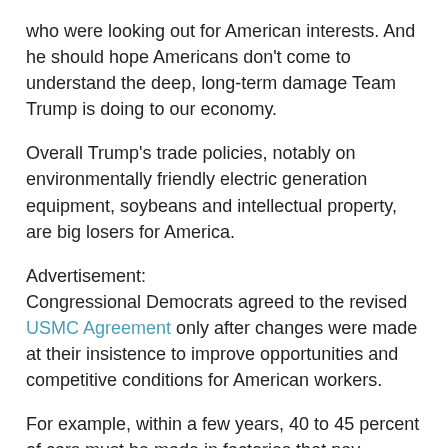who were looking out for American interests. And he should hope Americans don't come to understand the deep, long-term damage Team Trump is doing to our economy.
Overall Trump's trade policies, notably on environmentally friendly electric generation equipment, soybeans and intellectual property, are big losers for America.
Advertisement:
Congressional Democrats agreed to the revised USMC Agreement only after changes were made at their insistence to improve opportunities and competitive conditions for American workers.
For example, within a few years, 40 to 45 percent of cars must be made in factories that pay workers at least $16 an hour, a policy that affects only Mexico where average auto worker pay is just $2.60 an hour.